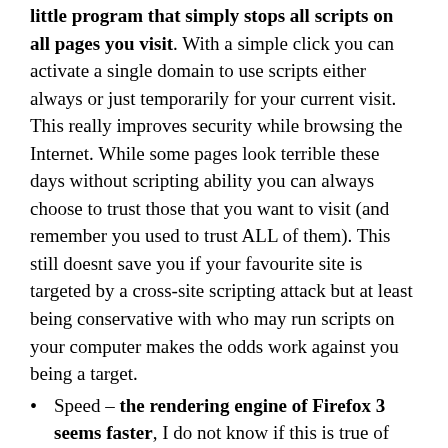little program that simply stops all scripts on all pages you visit. With a simple click you can activate a single domain to use scripts either always or just temporarily for your current visit. This really improves security while browsing the Internet. While some pages look terrible these days without scripting ability you can always choose to trust those that you want to visit (and remember you used to trust ALL of them). This still doesnt save you if your favourite site is targeted by a cross-site scripting attack but at least being conservative with who may run scripts on your computer makes the odds work against you being a target.
Speed – the rendering engine of Firefox 3 seems faster, I do not know if this is true of just a perception of mine. It may also help that I've installed AdBlock Plus. This is another great addon that makes you able to block all incoming